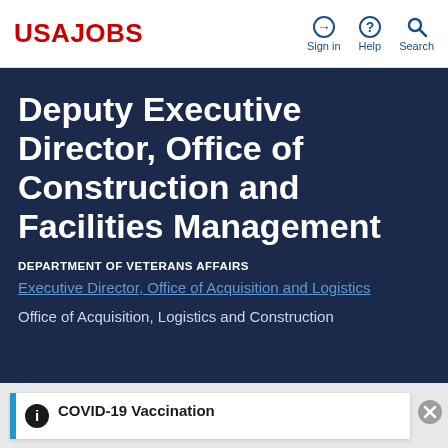USAJOBS
Deputy Executive Director, Office of Construction and Facilities Management
DEPARTMENT OF VETERANS AFFAIRS
Executive Director, Office of Acquisition and Logistics
Office of Acquisition, Logistics and Construction
COVID-19 Vaccination